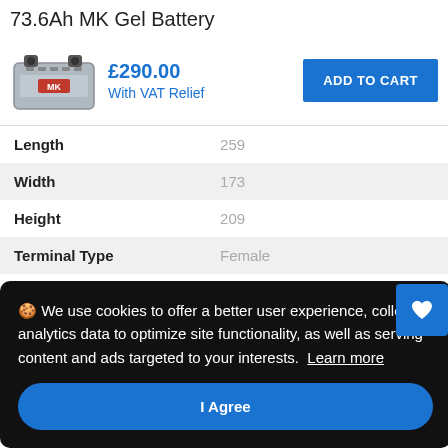73.6Ah MK Gel Battery
£290.00
With VAT Relief
ADD TO CART
[Figure (photo): Photo of a grey MK Gel Battery]
| Attribute | Value |
| --- | --- |
| Length | 259 |
| Width | 173 |
| Height | 209 |
| Terminal Type | Female |
🍪 We use cookies to offer a better user experience, collect analytics data to optimize site functionality, as well as serving content and ads targeted to your interests.  Learn more
I Agree